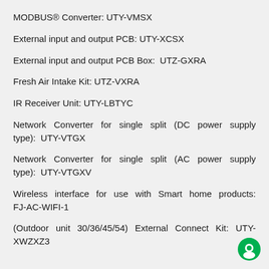MODBUS® Converter: UTY-VMSX
External input and output PCB: UTY-XCSX
External input and output PCB Box:  UTZ-GXRA
Fresh Air Intake Kit: UTZ-VXRA
IR Receiver Unit: UTY-LBTYC
Network Converter for single split (DC power supply type):  UTY-VTGX
Network Converter for single split (AC power supply type):  UTY-VTGXV
Wireless interface for use with Smart home products: FJ-AC-WIFI-1
(Outdoor unit 30/36/45/54) External Connect Kit:  UTY-XWZXZ3